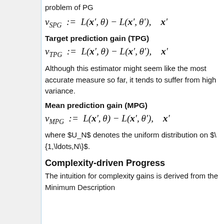problem of PG
Target prediction gain (TPG)
Although this estimator might seem like the most accurate measure so far, it tends to suffer from high variance.
Mean prediction gain (MPG)
where $U_N$ denotes the uniform distribution on $\{1,\ldots,N\}$.
Complexity-driven Progress
The intuition for complexity gains is derived from the Minimum Description